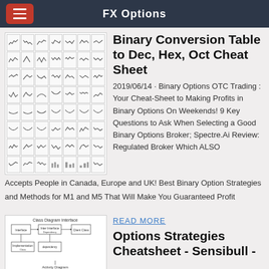FX Options
[Figure (illustration): Grid of candlestick/chart pattern thumbnails arranged in 7 columns and 8 rows, showing various binary options chart patterns]
Binary Conversion Table to Dec, Hex, Oct Cheat Sheet
2019/06/14 · Binary Options OTC Trading : Your Cheat-Sheet to Making Profits in Binary Options On Weekends! 9 Key Questions to Ask When Selecting a Good Binary Options Broker; Spectre.Ai Review: Regulated Broker Which ALSO Accepts People in Canada, Europe and UK! Best Binary Option Strategies and Methods for M1 and M5 That Will Make You Guaranteed Profit
[Figure (illustration): Class Diagram / UML diagram showing interfaces, inheritance and activity diagram at bottom]
READ MORE
Options Strategies Cheatsheet - Sensibull -